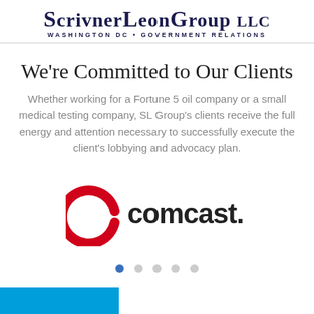ScrivnerLeonGroup LLC
WASHINGTON DC • GOVERNMENT RELATIONS
We're Committed to Our Clients
Whether working for a Fortune 5 oil company or a small medical testing company, SL Group's clients receive the full energy and attention necessary to successfully execute the client's lobbying and advocacy plan.
[Figure (logo): Comcast logo with red arc and black text]
[Figure (other): Carousel navigation dots: five dots, first dot filled blue, rest grey]